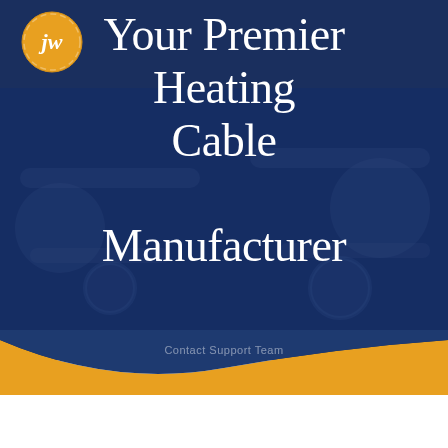[Figure (logo): Circular orange logo with stylized 'JW' script letters in white, with decorative curved lines around initials]
Your Premier Heating Cable Manufacturer
Contact Support Team
[Figure (illustration): Dark navy blue background with industrial heating cable machinery/equipment visible as a faded background image, with a gold/amber wave curve at the bottom separating the main area from the white footer]